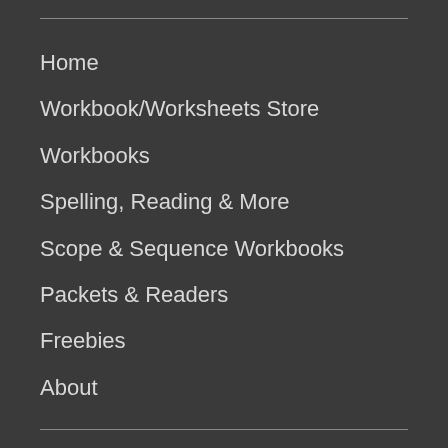Home
Workbook/Worksheets Store
Workbooks
Spelling, Reading & More
Scope & Sequence Workbooks
Packets & Readers
Freebies
About